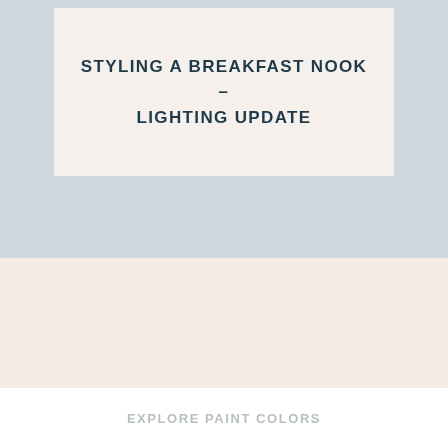STYLING A BREAKFAST NOOK – LIGHTING UPDATE
EXPLORE PAINT COLORS